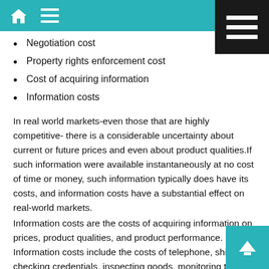Negotiation cost
Property rights enforcement cost
Cost of acquiring information
Information costs
In real world markets-even those that are highly competitive- there is a considerable uncertainty about current or future prices and even about product qualities.If such information were available instantaneously at no cost of time or money, such information typically does have its costs, and information costs have a substantial effect on real-world markets.
Information costs are the costs of acquiring information on prices, product qualities, and product performance. Information costs include the costs of telephone, shipping, checking credentials, inspecting goods, monitoring the honesty of workers or customers, placing ads and reading ads and consumers reports etc. in order to